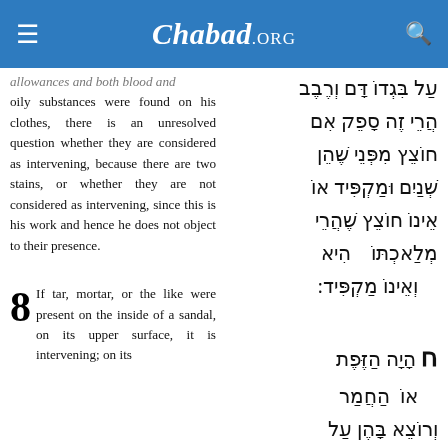Chabad.ORG
allowances and both blood and oily substances were found on his clothes, there is an unresolved question whether they are considered as intervening, because there are two stains, or whether they are not considered as intervening, since this is his work and hence he does not object to their presence.
על בִּגְדוֹ דָּם וְרֶבֶב הֲרֵי זֶה סָפֵק אִם חוֹצֵץ מִפְּנֵי שֶׁהֵן שְׁנַיִם וּמַקְפִּיד אוֹ אֵינוֹ חוֹצֵץ שֶׁהֲרֵי מְלַאכְתּוֹ הִיא וְאֵינוֹ מַקְפִּיד:
8 If tar, mortar, or the like were present on the inside of a sandal, on its upper surface, it is intervening; on its
ח הָיָה הַזֶּפֶת אוֹ הַחֲמַר וְרוֹצֵא בָּהֶן עַל